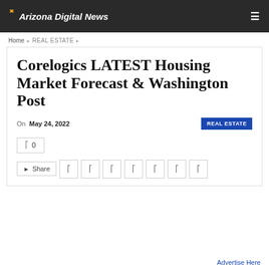Arizona Digital News
Home › REAL ESTATE ›
Corelogics LATEST Housing Market Forecast & Washington Post
On May 24, 2022  REAL ESTATE
0
Share